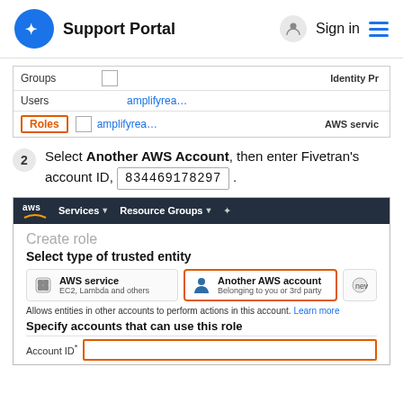Support Portal  Sign in
[Figure (screenshot): IAM console sidebar showing Groups, Users, and Roles (highlighted with orange border) navigation items, with table rows showing amplifyrea... entries]
2  Select Another AWS Account, then enter Fivetran's account ID, 834469178297.
[Figure (screenshot): AWS Console showing Create role page with Select type of trusted entity section. Another AWS account option is selected (highlighted with orange border). Below shows Specify accounts that can use this role section with Account ID field highlighted in orange border.]